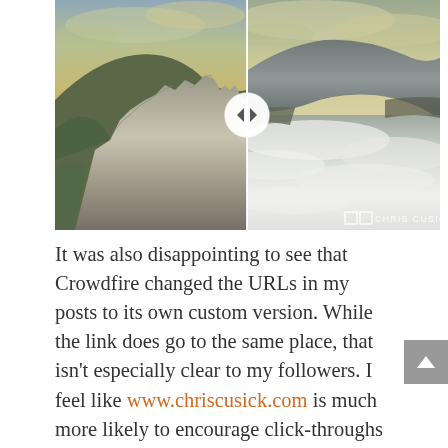[Figure (photo): A split before/after photo comparison of mountain landscapes with a slider handle in the middle. Left side shows rocky jagged mountain peaks with green vegetation. Right side shows a misty mountain scene with clouds below the peaks. A circular slider control is centered at the dividing line. A watermark reading 'CHRIS CUSICK' appears in the bottom right corner.]
It was also disappointing to see that Crowdfire changed the URLs in my posts to its own custom version. While the link does go to the same place, that isn't especially clear to my followers. I feel like www.chriscusick.com is much more likely to encourage click-throughs than "http://crwd.fr/2mnOFQi". It's hard enough to